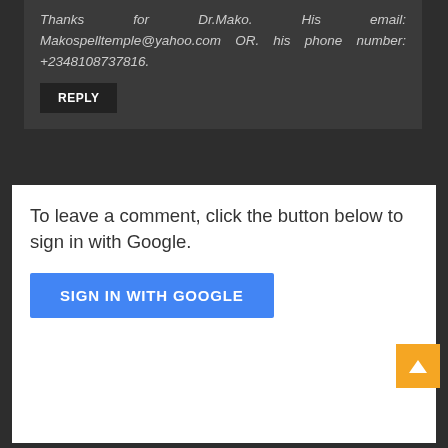Thanks for Dr.Mako. His email: Makospelltemple@yahoo.com OR. his phone number: +2348108737816.
REPLY
To leave a comment, click the button below to sign in with Google.
SIGN IN WITH GOOGLE